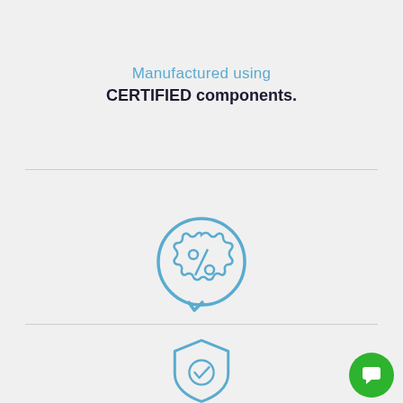Manufactured using
CERTIFIED components.
[Figure (illustration): Discount/percentage badge icon inside a speech bubble, drawn in blue outline style]
FACTORY DIRECT SAVINGS
Save Over 50% Today!
[Figure (illustration): Shield with checkmark icon in blue outline style, and a green circle chat button with white speech bubble icon in the bottom right corner]